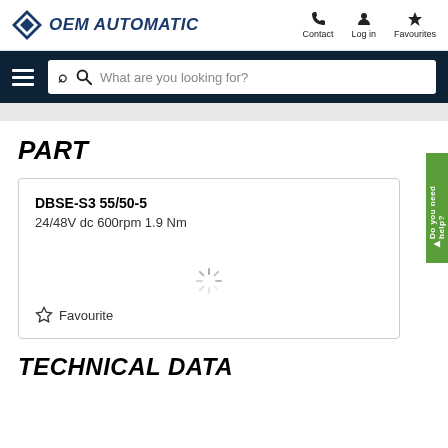OEM AUTOMATIC | Contact | Log in | Favourites
[Figure (screenshot): Search bar with hamburger menu on dark navy background, placeholder text: What are you looking for?]
PART
DBSE-S3 55/50-5
24/48V dc 600rpm 1.9 Nm
Favourite
TECHNICAL DATA